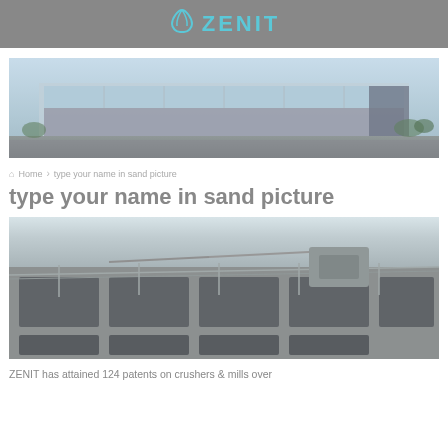ZENIT
[Figure (photo): Wide panoramic photo of a large modern glass-facade building/facility exterior]
Home › type your name in sand picture
type your name in sand picture
[Figure (photo): Industrial facility rooftop with metal railings, equipment and dark panels]
ZENIT has attained 124 patents on crushers & mills over